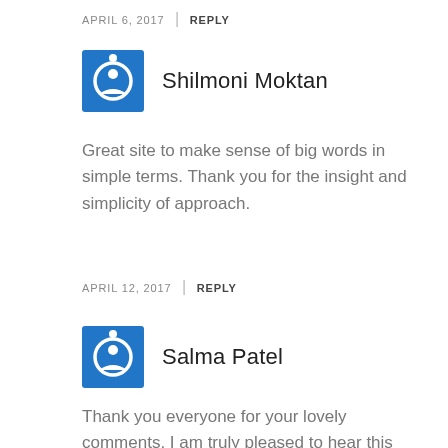APRIL 6, 2017 | REPLY
Shilmoni Moktan
Great site to make sense of big words in simple terms. Thank you for the insight and simplicity of approach.
APRIL 12, 2017 | REPLY
Salma Patel
Thank you everyone for your lovely comments. I am truly pleased to hear this article has been useful to so many of you! Wishing you all the best